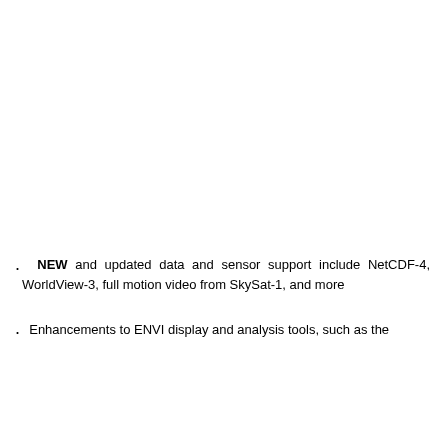NEW and updated data and sensor support include NetCDF-4, WorldView-3, full motion video from SkySat-1, and more
Enhancements to ENVI display and analysis tools, such as the